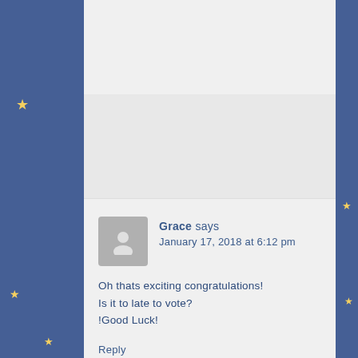Grace says
January 17, 2018 at 6:12 pm
Oh thats exciting congratulations!
Is it to late to vote?
!Good Luck!
Reply
Jacqueline Harvey says
January 23, 2018 at 8:38